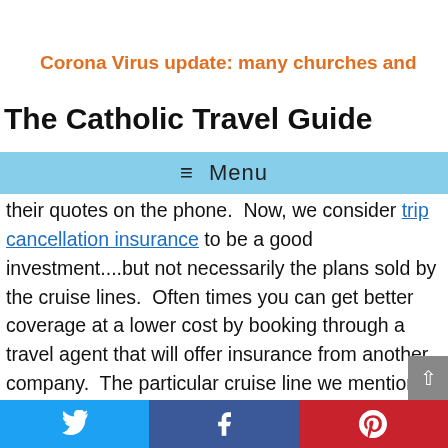Corona Virus update:  many churches and
The Catholic Travel Guide
≡ Menu
their quotes on the phone.  Now, we consider trip cancellation insurance to be a good investment....but not necessarily the plans sold by the cruise lines.  Often times you can get better coverage at a lower cost by booking through a travel agent that will offer insurance from another company.  The particular cruise line we mention will remove the insurance